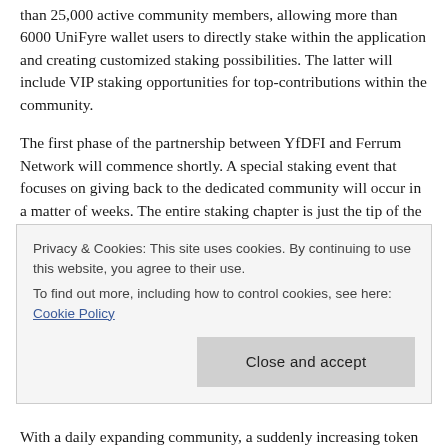than 25,000 active community members, allowing more than 6000 UniFyre wallet users to directly stake within the application and creating customized staking possibilities. The latter will include VIP staking opportunities for top-contributions within the community.
The first phase of the partnership between YfDFI and Ferrum Network will commence shortly. A special staking event that focuses on giving back to the dedicated community will occur in a matter of weeks. The entire staking chapter is just the tip of the iceberg of what the future will have to offer. The subsequent aspect of the collaboration between the two projects will evolve around liquidity farming. This innovative piece of technology will combine the providing of liquidity on
Privacy & Cookies: This site uses cookies. By continuing to use this website, you agree to their use.
To find out more, including how to control cookies, see here: Cookie Policy
Close and accept
With a daily expanding community, a suddenly increasing token